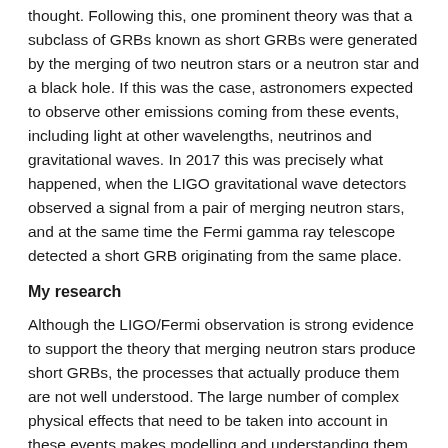thought. Following this, one prominent theory was that a subclass of GRBs known as short GRBs were generated by the merging of two neutron stars or a neutron star and a black hole. If this was the case, astronomers expected to observe other emissions coming from these events, including light at other wavelengths, neutrinos and gravitational waves. In 2017 this was precisely what happened, when the LIGO gravitational wave detectors observed a signal from a pair of merging neutron stars, and at the same time the Fermi gamma ray telescope detected a short GRB originating from the same place.
My research
Although the LIGO/Fermi observation is strong evidence to support the theory that merging neutron stars produce short GRBs, the processes that actually produce them are not well understood. The large number of complex physical effects that need to be taken into account in these events makes modelling and understanding them difficult. The two neutron stars are incredibly massive and dense, and so they have strong gravitational fields, making general relativistic effects important. Their internal structure is also poorly understood, and the high densities and temperatures encountered during the merger make nuclear reactions and the emission of neutrinos important. Additionally, neutron stars can have very